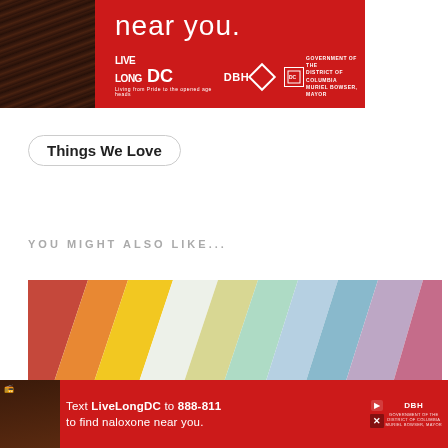[Figure (photo): Red banner advertisement for LiveLongDC with text 'near you.' and logos for LiveLongDC, DBH, and DC Government/Muriel Bowser Mayor on red background with photo of person on left]
Things We Love
YOU MIGHT ALSO LIKE...
[Figure (photo): Colorful diagonal painted wooden planks/boards in various colors (red, orange, yellow, green, teal, blue, purple) with a Subscribe button overlay in teal]
[Figure (photo): Bottom advertisement banner: Text 'Text LiveLongDC to 888-811 to find naloxone near you.' on red background with DBH and DC Government logos, with person photo on left, and ad close/flag icons on right]